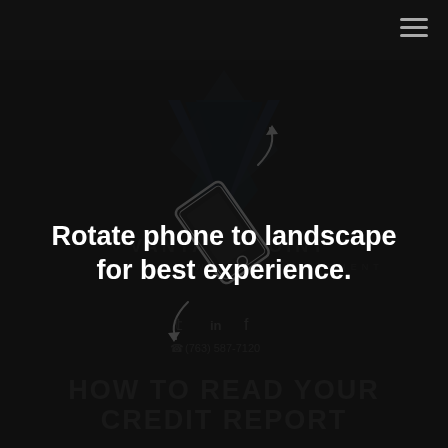[Figure (logo): Vantage Point Wealth Management logo with downward pointing triangle/V shape above company name text, and a rotate-to-landscape phone icon overlay with rotation arrows]
Rotate phone to landscape for best experience.
HOW TO READ YOUR CREDIT REPORT